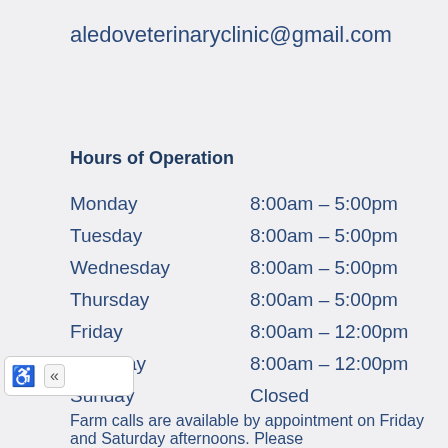aledoveterinaryclinic@gmail.com
Hours of Operation
| Day | Hours |
| --- | --- |
| Monday | 8:00am – 5:00pm |
| Tuesday | 8:00am – 5:00pm |
| Wednesday | 8:00am – 5:00pm |
| Thursday | 8:00am – 5:00pm |
| Friday | 8:00am – 12:00pm |
| Saturday | 8:00am – 12:00pm |
| Sunday | Closed |
Farm calls are available by appointment on Friday and Saturday afternoons. Please